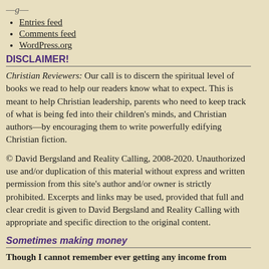Entries feed
Comments feed
WordPress.org
DISCLAIMER!
Christian Reviewers: Our call is to discern the spiritual level of books we read to help our readers know what to expect. This is meant to help Christian leadership, parents who need to keep track of what is being fed into their children's minds, and Christian authors—by encouraging them to write powerfully edifying Christian fiction.
© David Bergsland and Reality Calling, 2008-2020. Unauthorized use and/or duplication of this material without express and written permission from this site's author and/or owner is strictly prohibited. Excerpts and links may be used, provided that full and clear credit is given to David Bergsland and Reality Calling with appropriate and specific direction to the original content.
Sometimes making money
Though I cannot remember ever getting any income from